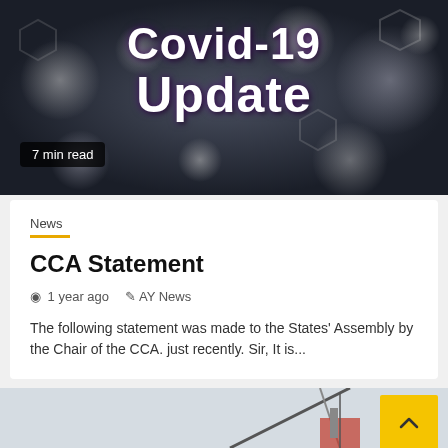[Figure (photo): Blurred bokeh background with dark tones, showing a Covid-19 Update headline overlay with '7 min read' badge]
Covid-19 Update
7 min read
News
CCA Statement
1 year ago   AY News
The following statement was made to the States' Assembly by the Chair of the CCA. just recently. Sir, It is...
[Figure (photo): Crane and machinery photo with light grey sky background, partially visible at the bottom of the page]